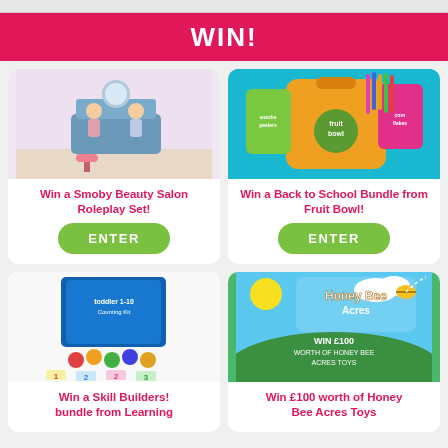WIN!
[Figure (photo): Two children playing with a Smoby Beauty Salon roleplay set in a room with floral wallpaper]
Win a Smoby Beauty Salon Roleplay Set!
ENTER
[Figure (photo): Orange backpack with Fruit Bowl branding, pencils, and food packets on a blue background]
Win a Back to School Bundle from Fruit Bowl!
ENTER
[Figure (photo): Learning Resources Skill Builders toddler counting kit with colourful figurines and number tiles]
[Figure (photo): Honey Bee Acres promotional image showing Win £100 worth of Honey Bee Acres Toys]
Win a Skill Builders! bundle from Learning
Win £100 worth of Honey Bee Acres Toys